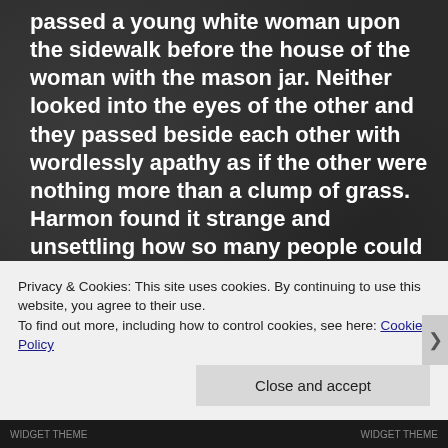passed a young white woman upon the sidewalk before the house of the woman with the mason jar. Neither looked into the eyes of the other and they passed beside each other with wordlessly apathy as if the other were nothing more than a clump of grass. Harmon found it strange and unsettling how so many people could live in such close proximity for so long and yet almost never look or speak to one another. They came and went like ghosts under the setting sun.
“If you died in a crash, but some of your organs could be saved and transplanted, would you want them to
Privacy & Cookies: This site uses cookies. By continuing to use this website, you agree to their use.
To find out more, including how to control cookies, see here: Cookie Policy
Close and accept
WIDGET THEME